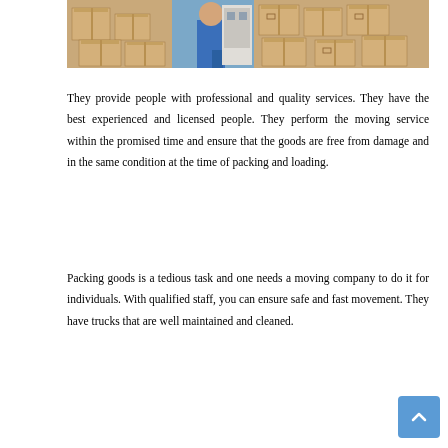[Figure (photo): Photo of a mover in blue overalls surrounded by cardboard boxes near a truck/van]
They provide people with professional and quality services. They have the best experienced and licensed people. They perform the moving service within the promised time and ensure that the goods are free from damage and in the same condition at the time of packing and loading.
Packing goods is a tedious task and one needs a moving company to do it for individuals. With qualified staff, you can ensure safe and fast movement. They have trucks that are well maintained and cleaned.